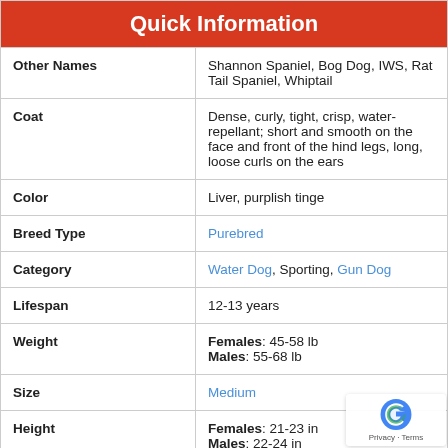|  |  |
| --- | --- |
| Other Names | Shannon Spaniel, Bog Dog, IWS, Rat Tail Spaniel, Whiptail |
| Coat | Dense, curly, tight, crisp, water-repellant; short and smooth on the face and front of the hind legs, long, loose curls on the ears |
| Color | Liver, purplish tinge |
| Breed Type | Purebred |
| Category | Water Dog, Sporting, Gun Dog |
| Lifespan | 12-13 years |
| Weight | Females: 45-58 lb
Males: 55-68 lb |
| Size | Medium |
| Height | Females: 21-23 in
Males: 22-24 in |